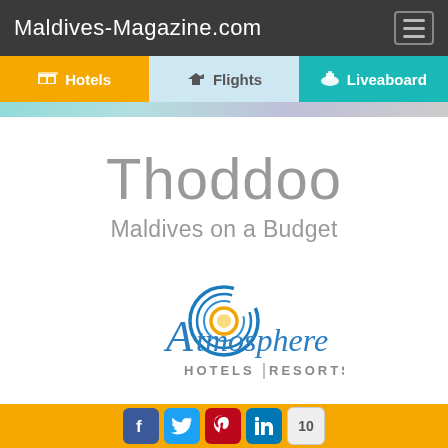Maldives-Magazine.com
Thoddoo
Maldives on a Budget
[Figure (logo): Atmosphere Hotels & Resorts logo with blue swirl and gold circle]
Social share icons: Facebook, Twitter, Pinterest, LinkedIn, count: 10